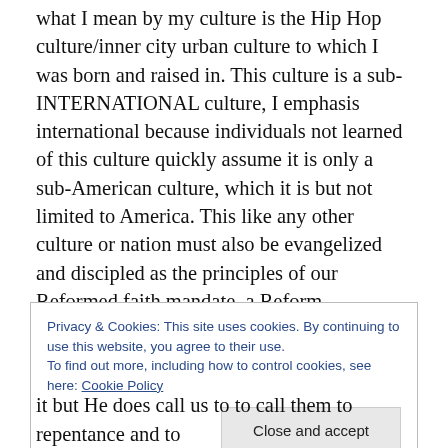what I mean by my culture is the Hip Hop culture/inner city urban culture to which I was born and raised in. This culture is a sub-INTERNATIONAL culture, I emphasis international because individuals not learned of this culture quickly assume it is only a sub-American culture, which it is but not limited to America. This like any other culture or nation must also be evangelized and discipled as the principles of our Reformed faith mandate, a Reform Ordinance sort of speak, to bring nations and its cultures to Christ receiving this command by our Lord in the Great Commission.
Privacy & Cookies: This site uses cookies. By continuing to use this website, you agree to their use. To find out more, including how to control cookies, see here: Cookie Policy
Close and accept
it but He does call us to to call them to repentance and to